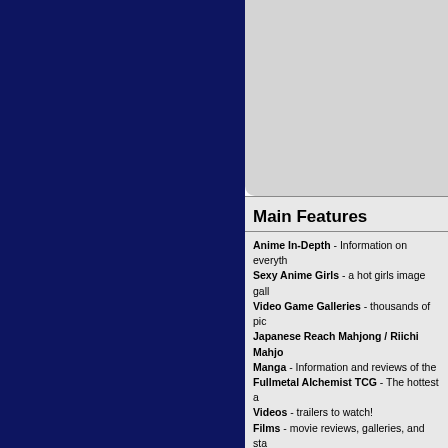Main Features
Anime In-Depth - Information on everyth
Sexy Anime Girls - a hot girls image gall
Video Game Galleries - thousands of pic
Japanese Reach Mahjong / Riichi Mahjo
Manga - Information and reviews of the
Fullmetal Alchemist TCG - The hottest a
Videos - trailers to watch!
Films - movie reviews, galleries, and sta
Anime Music Videos - AMV creation ano
How to Draw - tutorials on the manga str
MP3 - the best legal places you can get
Full House - Korean Drama - Asian Soap
Yu-Gi-Oh! - Comprehensive card game
Pokemon - Cards, games, and show inf
Sailor Moon - Everything you'd ever war
Dragonball Z - Everything you'd ever wa
Gundam Seed Destiny / Gundam Seed -
Professor Layton and the Curious Villag
Cube Link Network - links to the absolut
Ask Hammergirl - an advice column ano
Quizzes - Fun Tests!
Downloads!